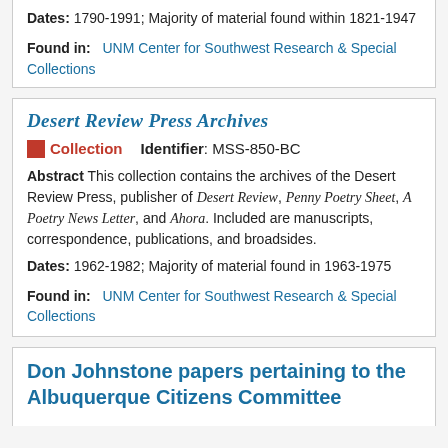Dates: 1790-1991; Majority of material found within 1821-1947
Found in:   UNM Center for Southwest Research & Special Collections
Desert Review Press Archives
Collection   Identifier: MSS-850-BC
Abstract This collection contains the archives of the Desert Review Press, publisher of Desert Review, Penny Poetry Sheet, A Poetry News Letter, and Ahora. Included are manuscripts, correspondence, publications, and broadsides.
Dates: 1962-1982; Majority of material found in 1963-1975
Found in:   UNM Center for Southwest Research & Special Collections
Don Johnstone papers pertaining to the Albuquerque Citizens Committee